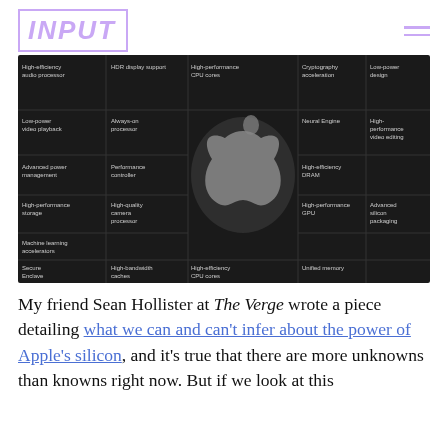INPUT
[Figure (infographic): Apple silicon chip diagram showing labeled feature boxes arranged around a central Apple logo on a dark background. Labels include: High-efficiency audio processor, HDR display support, High-performance CPU cores, Cryptography acceleration, Low-power design, Low-power video playback, Always-on processor, Neural Engine, High-performance video editing, Advanced power management, Performance controller, High-efficiency DRAM, High-performance storage, High-quality camera processor, High-performance GPU, Advanced silicon packaging, Machine learning accelerators, Secure Enclave, High-bandwidth caches, High-efficiency CPU cores, Unified memory.]
My friend Sean Hollister at The Verge wrote a piece detailing what we can and can't infer about the power of Apple's silicon, and it's true that there are more unknowns than knowns right now. But if we look at this